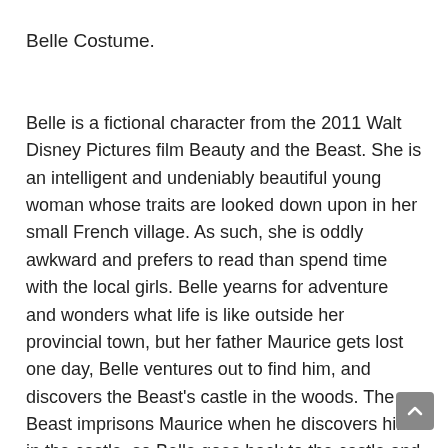Belle Costume.
Belle is a fictional character from the 2011 Walt Disney Pictures film Beauty and the Beast. She is an intelligent and undeniably beautiful young woman whose traits are looked down upon in her small French village. As such, she is oddly awkward and prefers to read than spend time with the local girls. Belle yearns for adventure and wonders what life is like outside her provincial town, but her father Maurice gets lost one day, Belle ventures out to find him, and discovers the Beast's castle in the woods. The Beast imprisons Maurice when he discovers him in the castle, so Belle goes back to the castle and offers herself instead. In exchange for her father's